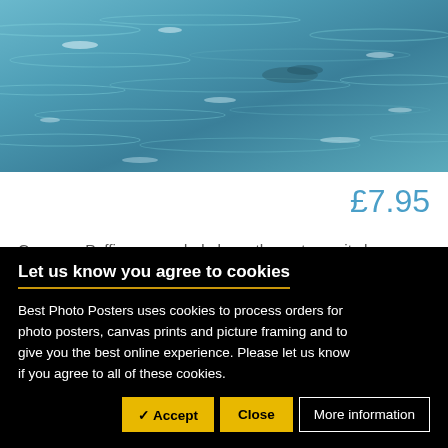[Figure (photo): Ocean water surface with rippling waves and white foam, blue-teal tones, seabird (puffin) partially visible skimming the surface]
£7.95
Common Puffin suspended above the water as it charges across the rippling seawater, leaving trails of water droplets behind. Common Puffins are also known as Sea Clowns due to their peculiar posture when roaming about on land, when taking off over
Let us know you agree to cookies
Best Photo Posters uses cookies to process orders for photo posters, canvas prints and picture framing and to give you the best online experience. Please let us know if you agree to all of these cookies.